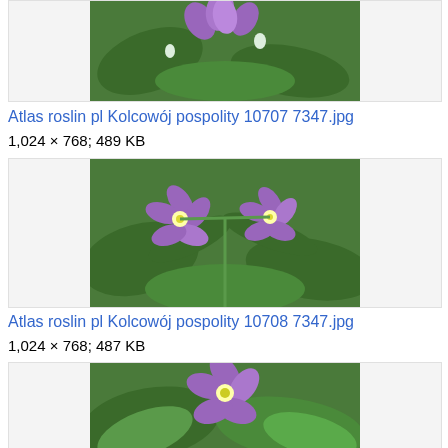[Figure (photo): Partial view of purple flowers (Kolcowój pospolity) with green leaves, cropped at top]
Atlas roslin pl Kolcowój pospolity 10707 7347.jpg
1,024 × 768; 489 KB
[Figure (photo): Purple star-shaped flowers (Kolcowój pospolity) on green leafy branches]
Atlas roslin pl Kolcowój pospolity 10708 7347.jpg
1,024 × 768; 487 KB
[Figure (photo): Purple flower (Kolcowój pospolity) close-up with green leaves, partially visible]